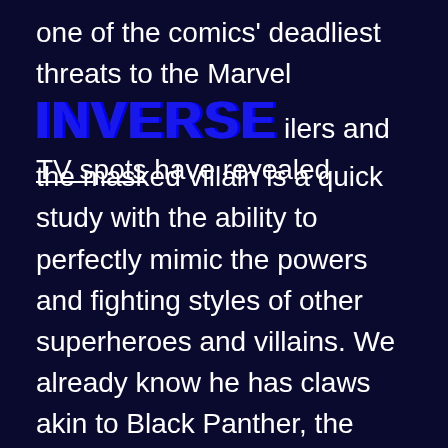one of the comics' deadliest threats to the Marvel Cinematic Universe. Trailers and TV spots have revealed the masked villain is a quick study with the ability to perfectly mimic the powers and fighting styles of other superheroes and villains. We already know he has claws akin to Black Panther, the archery skills of Hawkeye, and the shield technique of Captain America.
ADVERTISEMENT